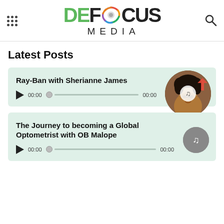DEFOCUS MEDIA
Latest Posts
Ray-Ban with Sherianne James
[Figure (illustration): Podcast audio player card with play button, progress bar showing 00:00 / 00:00, and circular portrait thumbnail of a woman with curly hair (Sherianne James)]
The Journey to becoming a Global Optometrist with OB Malope
[Figure (illustration): Podcast audio player card with play button, progress bar showing 00:00 / 00:00, and gray circular music note icon]